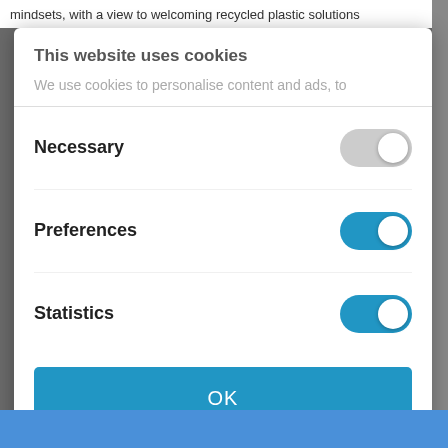mindsets, with a view to welcoming recycled plastic solutions
This website uses cookies
We use cookies to personalise content and ads, to
Necessary
Preferences
Statistics
OK
Powered by Cookiebot by Usercentrics